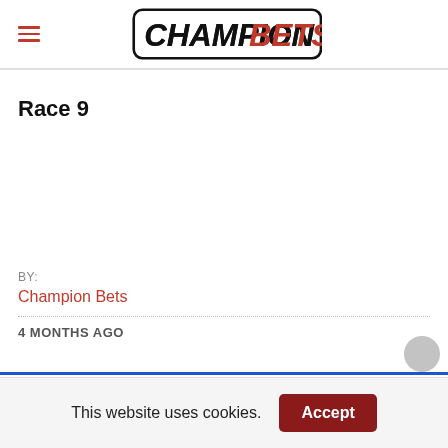Champion Bets
Race 9
BY:
Champion Bets
4 MONTHS AGO
This website uses cookies.
Accept